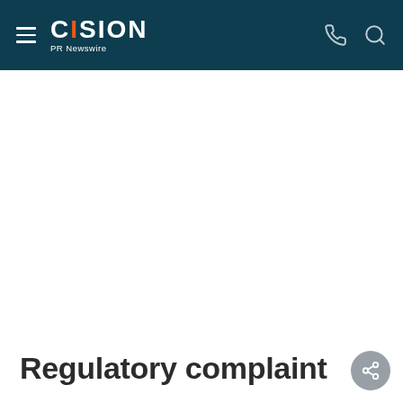CISION PR Newswire
Regulatory complaint